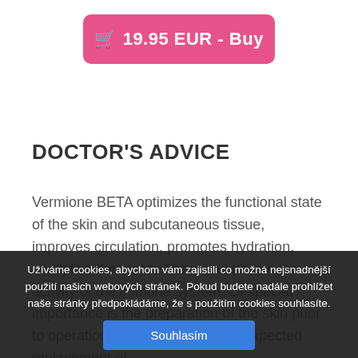[Figure (other): Pink rounded button with shopping cart icon and text '19.95 EUR - Buy']
DOCTOR'S ADVICE
Vermione BETA optimizes the functional state of the skin and subcutaneous tissue, improves circulation, promotes hydration, multiplies the elastic fibers and directs the activity of the immune system. Of special importance is the preparation of the skin prior to operations, especially with the expected replacement of
Užíváme cookies, abychom vám zajistili co možná nejsnadnější použití našich webových stránek. Pokud budete nadále prohlížet naše stránky předpokládáme, že s použitím cookies souhlasíte.
Souhlasím